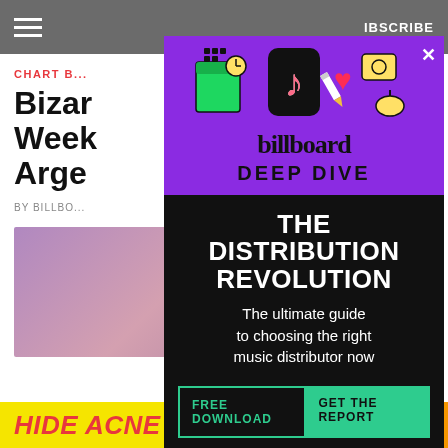SUBSCRIBE
CHART BEAT
Bizar... Weeks... Arge...
BY BILLBOARD · 8 hrs ago
[Figure (advertisement): Billboard Deep Dive advertisement overlay with TikTok and social media icons on purple background, featuring 'THE DISTRIBUTION REVOLUTION' headline and free download CTA on black background]
HIDE ACNE FOR $24